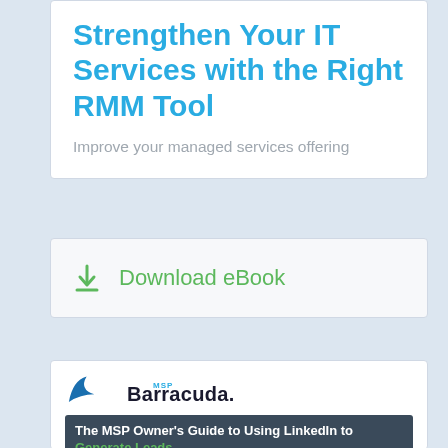Strengthen Your IT Services with the Right RMM Tool
Improve your managed services offering
Download eBook
[Figure (logo): MSP Barracuda logo with blue shark fin icon]
The MSP Owner's Guide to Using LinkedIn to Generate Leads
Why LinkedIn is the best social media platform to...